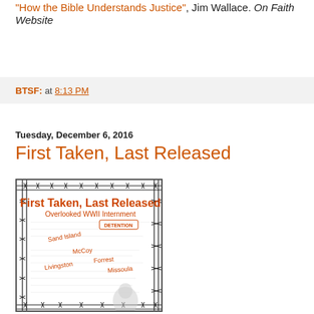"How the Bible Understands Justice", Jim Wallace. On Faith Website
BTSF: at 8:13 PM
Tuesday, December 6, 2016
First Taken, Last Released
[Figure (photo): Book cover of 'First Taken, Last Released: Overlooked WWII Internment' showing a barbed wire border, orange handwritten-style title text, and internment camp location names (Sand Island, McCoy, Forrest, Livingston, Missoula) with a faded document background and a silhouette portrait at the bottom.]